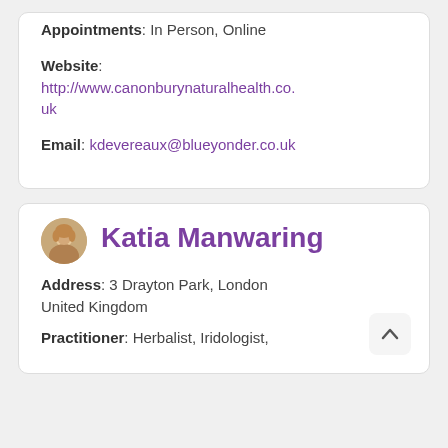Appointments: In Person, Online
Website: http://www.canonburynaturalhealth.co.uk
Email: kdevereaux@blueyonder.co.uk
Katia Manwaring
Address: 3 Drayton Park, London United Kingdom
Practitioner: Herbalist, Iridologist,